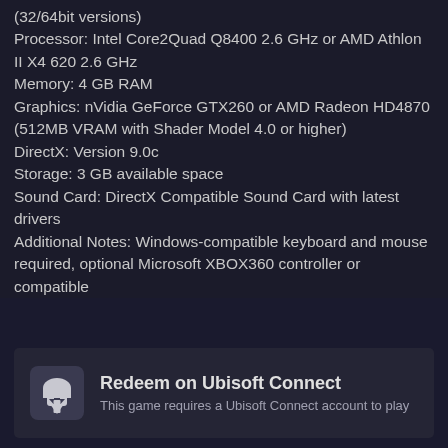(32/64bit versions)
Processor: Intel Core2Quad Q8400 2.6 GHz or AMD Athlon II X4 620 2.6 GHz
Memory: 4 GB RAM
Graphics: nVidia GeForce GTX260 or AMD Radeon HD4870 (512MB VRAM with Shader Model 4.0 or higher)
DirectX: Version 9.0c
Storage: 3 GB available space
Sound Card: DirectX Compatible Sound Card with latest drivers
Additional Notes: Windows-compatible keyboard and mouse required, optional Microsoft XBOX360 controller or compatible
Redeem on Ubisoft Connect
This game requires a Ubisoft Connect account to play